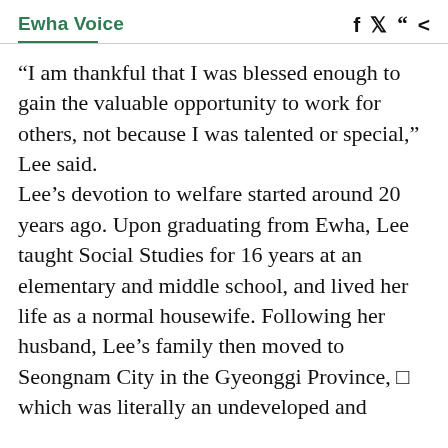Ewha Voice
“I am thankful that I was blessed enough to gain the valuable opportunity to work for others, not because I was talented or special,” Lee said. Lee’s devotion to welfare started around 20 years ago. Upon graduating from Ewha, Lee taught Social Studies for 16 years at an elementary and middle school, and lived her life as a normal housewife. Following her husband, Lee’s family then moved to Seongnam City in the Gyeonggi Province, □ which was literally an undeveloped and